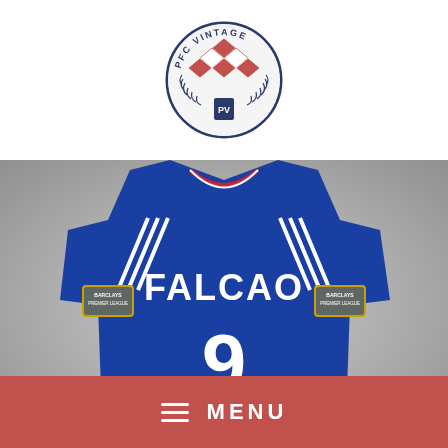[Figure (logo): PFC Vintage circular logo with red and white diamond pattern and laurel wreath]
[Figure (photo): Back of blue Chelsea football jersey with FALCAO #9 name and number, Barclays Premier League patches on sleeves, Adidas stripes]
≡  MENU